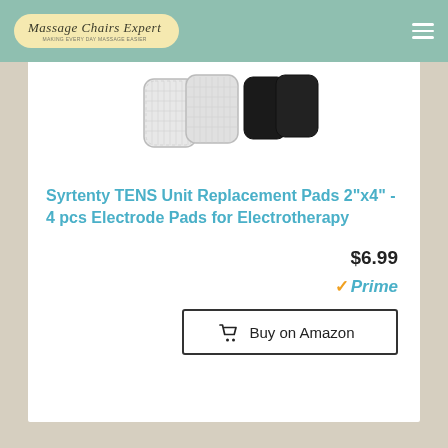Massage Chairs Expert
[Figure (photo): Product photo showing TENS unit electrode pads — two light/transparent pads and two black pads side by side]
Syrtenty TENS Unit Replacement Pads 2"x4" - 4 pcs Electrode Pads for Electrotherapy
$6.99
✓Prime
🛒 Buy on Amazon